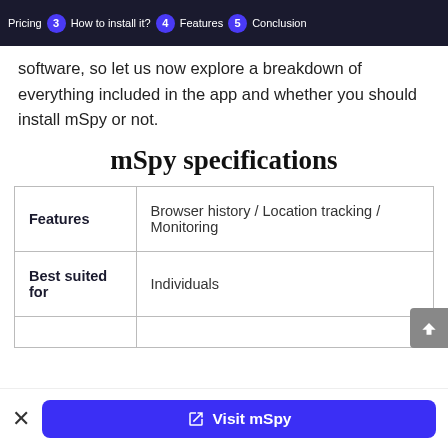Pricing 3 How to install it? 4 Features 5 Conclusion
software, so let us now explore a breakdown of everything included in the app and whether you should install mSpy or not.
mSpy specifications
|  |  |
| --- | --- |
| Features | Browser history / Location tracking / Monitoring |
| Best suited for | Individuals |
|  |  |